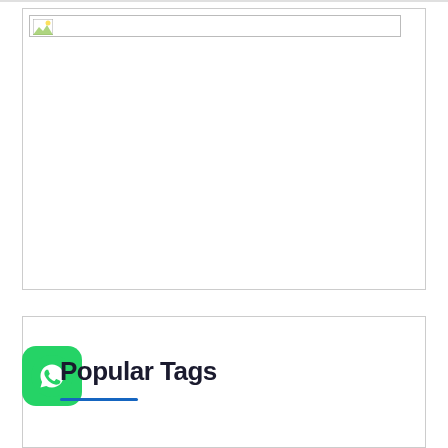[Figure (screenshot): Broken image placeholder with image URL bar at top, large white empty area below, within a bordered box]
[Figure (screenshot): Popular Tags section with WhatsApp icon on the left, bold dark heading 'Popular Tags', blue underline below the heading]